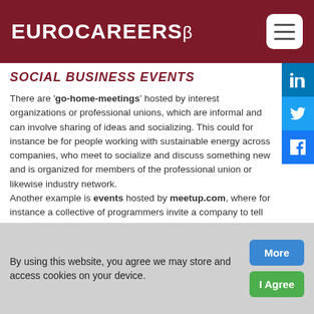EUROCAREERS β
SOCIAL BUSINESS EVENTS
There are 'go-home-meetings' hosted by interest organizations or professional unions, which are informal and can involve sharing of ideas and socializing. This could for instance be for people working with sustainable energy across companies, who meet to socialize and discuss something new and is organized for members of the professional union or likewise industry network. Another example is events hosted by meetup.com, where for instance a collective of programmers invite a company to tell about which challenges and solutions they have found on working with developing a new tool or project. It can be very important to extend your network, and get the right type of
By using this website, you agree we may store and access cookies on your device.